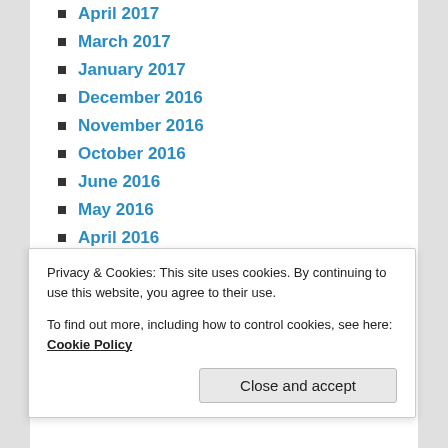April 2017
March 2017
January 2017
December 2016
November 2016
October 2016
June 2016
May 2016
April 2016
March 2016
January 2016
December 2015
November 2015
October 2015
September 2015
Privacy & Cookies: This site uses cookies. By continuing to use this website, you agree to their use.
To find out more, including how to control cookies, see here: Cookie Policy